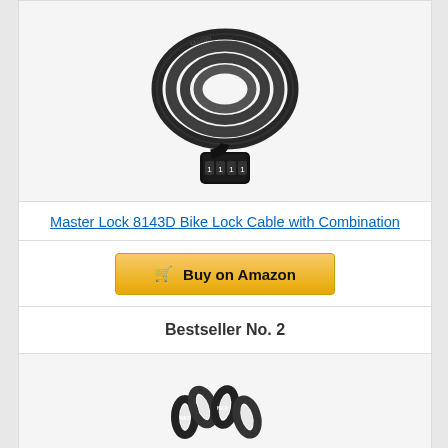[Figure (photo): Photo of a black coiled combination bike lock cable (Master Lock 8143D), showing the cable wound in a circle with a 4-digit combination lock mechanism at the bottom]
Master Lock 8143D Bike Lock Cable with Combination
[Figure (other): Buy on Amazon button with shopping cart icon]
Bestseller No. 2
[Figure (photo): Partial photo of a black chain lock at the bottom of the page]